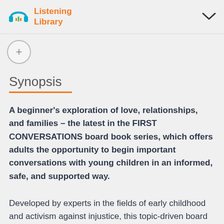Listening Library
[Figure (logo): Listening Library logo with headphones icon and orange text]
Synopsis
A beginner's exploration of love, relationships, and families – the latest in the FIRST CONVERSATIONS board book series, which offers adults the opportunity to begin important conversations with young children in an informed, safe, and supported way.
Developed by experts in the fields of early childhood and activism against injustice, this topic-driven board book offers clear, concrete